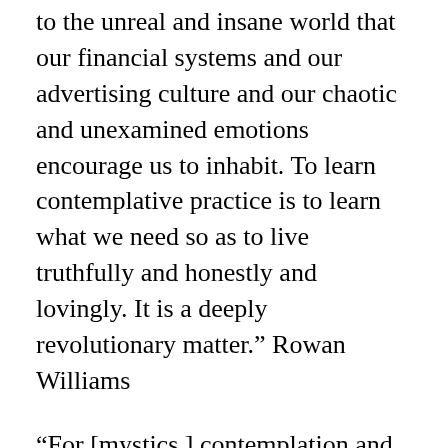to the unreal and insane world that our financial systems and our advertising culture and our chaotic and unexamined emotions encourage us to inhabit. To learn contemplative practice is to learn what we need so as to live truthfully and honestly and lovingly. It is a deeply revolutionary matter.” Rowan Williams
“For [mystics,] contemplation and action are not opposites, but two interdependent forms of a life that is one – a life that rushes out to a passionate communion